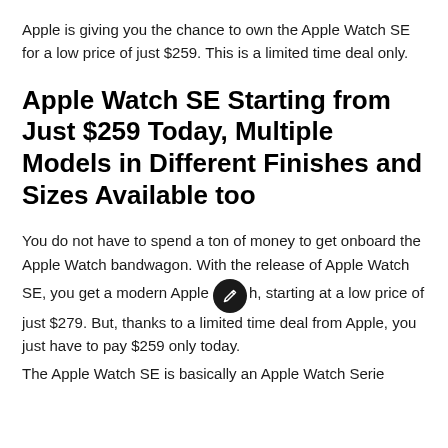Apple is giving you the chance to own the Apple Watch SE for a low price of just $259. This is a limited time deal only.
Apple Watch SE Starting from Just $259 Today, Multiple Models in Different Finishes and Sizes Available too
You do not have to spend a ton of money to get onboard the Apple Watch bandwagon. With the release of Apple Watch SE, you get a modern Apple Watch, starting at a low price of just $279. But, thanks to a limited time deal from Apple, you just have to pay $259 only today.
The Apple Watch SE is basically an Apple Watch Serie...